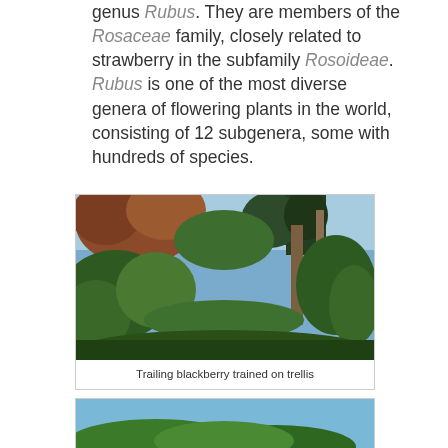genus Rubus. They are members of the Rosaceae family, closely related to strawberry in the subfamily Rosoideae. Rubus is one of the most diverse genera of flowering plants in the world, consisting of 12 subgenera, some with hundreds of species.
[Figure (photo): Trailing blackberry plants trained on a trellis system in a farm field, with lush green foliage and a dirt path running between rows, blue sky visible in the background.]
Trailing blackberry trained on trellis
[Figure (photo): Partial view of a second photo showing blackberry or similar plant with blue sky background, visible at bottom of page.]